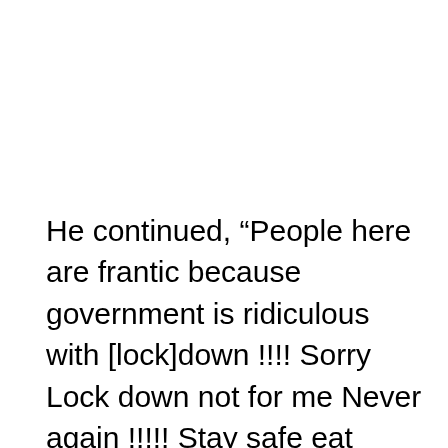He continued, “People here are frantic because government is ridiculous with [lock]down !!!! Sorry Lock down not for me Never again !!!!! Stay safe eat healthy, exercise, and no shaking and [wash hands]!” and hashtagged “lockdown not cool.” Followers immediately began filling up his comment section scolding him for laughing off the gravity of the situation. “You wouldn’t be saying that if you caught it!!! I live in Italy – in the red